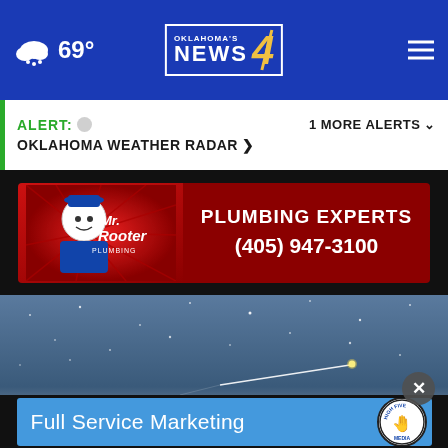Oklahoma's News 4 — 69° weather header
ALERT: OKLAHOMA WEATHER RADAR > | 1 MORE ALERTS
[Figure (advertisement): Mr. Rooter Plumbing advertisement banner: PLUMBING EXPERTS (405) 947-3100]
[Figure (photo): Night sky photo with shooting star/meteor streaking across starry blue-grey sky]
[Figure (advertisement): Full Service Marketing — High Five Media advertisement banner]